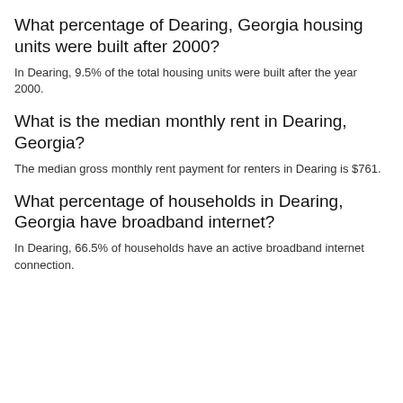What percentage of Dearing, Georgia housing units were built after 2000?
In Dearing, 9.5% of the total housing units were built after the year 2000.
What is the median monthly rent in Dearing, Georgia?
The median gross monthly rent payment for renters in Dearing is $761.
What percentage of households in Dearing, Georgia have broadband internet?
In Dearing, 66.5% of households have an active broadband internet connection.